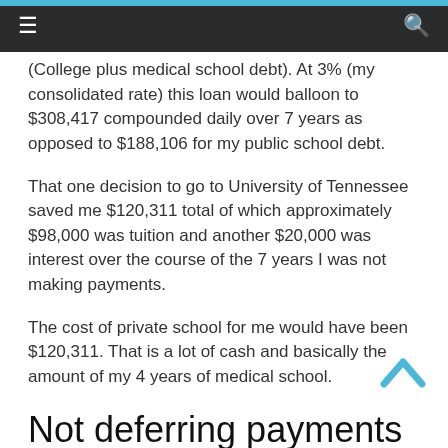≡  🔍
(College plus medical school debt). At 3% (my consolidated rate) this loan would balloon to $308,417 compounded daily over 7 years as opposed to $188,106 for my public school debt.
That one decision to go to University of Tennessee saved me $120,311 total of which approximately $98,000 was tuition and another $20,000 was interest over the course of the 7 years I was not making payments.
The cost of private school for me would have been $120,311. That is a lot of cash and basically the amount of my 4 years of medical school.
Not deferring payments